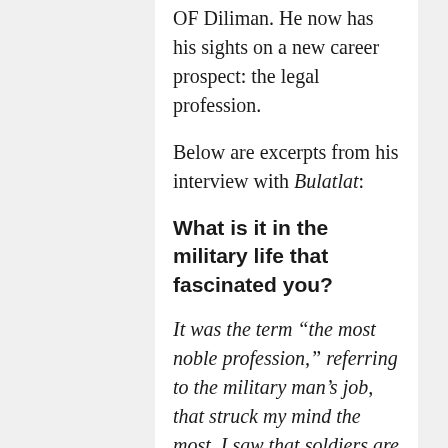OF Diliman. He now has his sights on a new career prospect: the legal profession.
Below are excerpts from his interview with Bulatlat:
What is it in the military life that fascinated you?
It was the term “the most noble profession,” referring to the military man’s job, that struck my mind the most. I saw that soldiers are disciplined, and they help each other out whenever there are things that